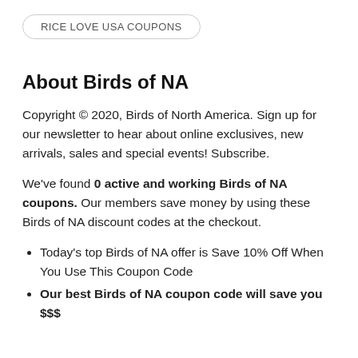RICE LOVE USA COUPONS
About Birds of NA
Copyright © 2020, Birds of North America. Sign up for our newsletter to hear about online exclusives, new arrivals, sales and special events! Subscribe.
We've found 0 active and working Birds of NA coupons. Our members save money by using these Birds of NA discount codes at the checkout.
Today's top Birds of NA offer is Save 10% Off When You Use This Coupon Code
Our best Birds of NA coupon code will save you $$$